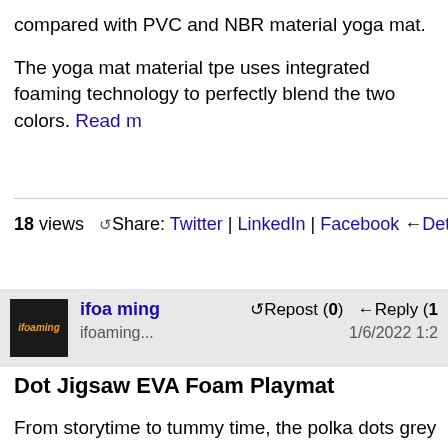compared with PVC and NBR material yoga mat.
The yoga mat material tpe uses integrated foaming technology to perfectly blend the two colors. Read more
18 views  Share: Twitter | LinkedIn | Facebook  Details
ifoa ming
ifoaming...
Repost (0)  Reply (1
1/6/2022 1:2
Dot Jigsaw EVA Foam Playmat
From storytime to tummy time, the polka dots grey p is the perfect foam tiles to provide your little one's c